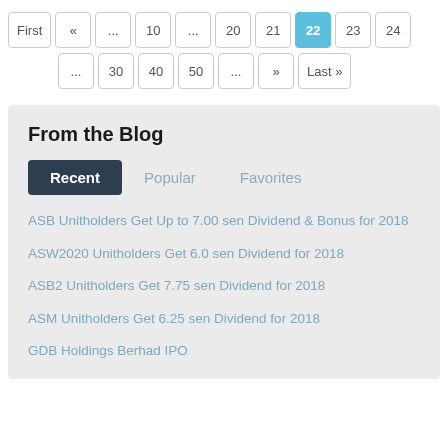Pagination: First « ... 10 ... 20 21 22 (active) 23 24 ... 30 40 50 ... » Last »
From the Blog
Recent | Popular | Favorites (tab buttons)
ASB Unitholders Get Up to 7.00 sen Dividend & Bonus for 2018
ASW2020 Unitholders Get 6.0 sen Dividend for 2018
ASB2 Unitholders Get 7.75 sen Dividend for 2018
ASM Unitholders Get 6.25 sen Dividend for 2018
GDB Holdings Berhad IPO